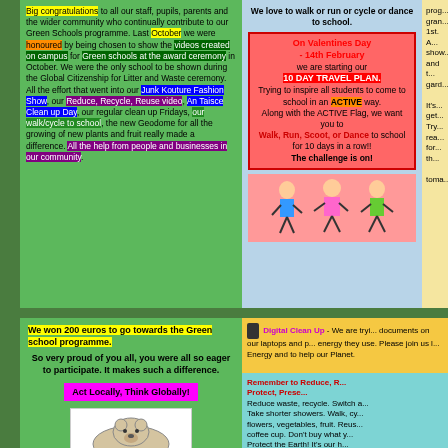Big congratulations to all our staff, pupils, parents and the wider community who continually contribute to our Green Schools programme. Last October we were honoured by being chosen to show the videos created on campus for Green schools at the award ceremony in October. We were the only school to be shown during the Global Citizenship for Litter and Waste ceremony. All the effort that went into our Junk Kouture Fashion Show, our Reduce, Recycle, Reuse video, An Taisce Clean up Day, our regular clean up Fridays, our walk/cycle to school, the new Geodome for all the growing of new plants and fruit really made a difference. All the help from people and businesses in our community.
We love to walk or run or cycle or dance to school. On Valentines Day - 14th February we are starting our 10 DAY TRAVEL PLAN. Trying to inspire all students to come to school in an ACTIVE way. Along with the ACTIVE Flag, we want you to Walk, Run, Scoot or Dance to school for 10 days in a row!! The challenge is on!
We won 200 euros to go towards the Green school programme. So very proud of you all, you were all so eager to participate. It makes such a difference.
Act Locally, Think Globally!
[Figure (illustration): Drawing of a polar bear]
Digital Clean Up - We are trying to delete documents on our laptops and p... energy they use. Please join us l... Energy and to help our Planet.
Remember to Reduce, R... Protect, Prese... Reduce waste, recycle. Switch a... Take shorter showers. Walk, cy... flowers, vegetables, fruit. Reus... coffee cup. Don't buy what y... Protect the Earth! It's our h...